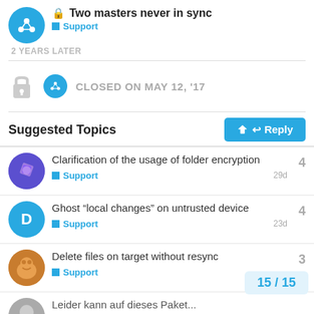Two masters never in sync — Support
2 YEARS LATER
CLOSED ON MAY 12, '17
Suggested Topics
Clarification of the usage of folder encryption — Support — 4 replies — 29d
Ghost “local changes” on untrusted device — Support — 4 replies — 23d
Delete files on target without resync — Support — 3 replies
Leider kann auf dieses Paket...
15 / 15